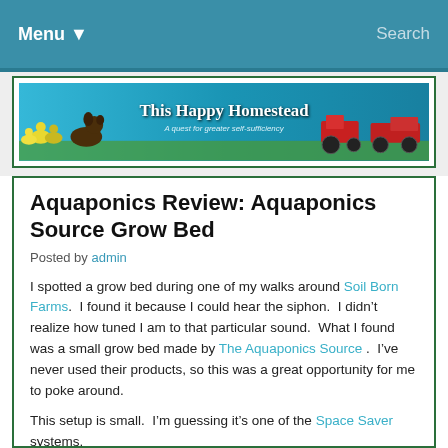Menu ▾   Search
[Figure (illustration): This Happy Homestead banner with chickens, a dog, tractors, and text 'A quest for greater self-sufficiency' on a blue/teal background]
Aquaponics Review: Aquaponics Source Grow Bed
Posted by admin
I spotted a grow bed during one of my walks around Soil Born Farms.  I found it because I could hear the siphon.  I didn't realize how tuned I am to that particular sound.  What I found was a small grow bed made by The Aquaponics Source .  I've never used their products, so this was a great opportunity for me to poke around.
This setup is small.  I'm guessing it's one of the Space Saver systems.
Soil Born had a neat little paper showing the science behind an AP